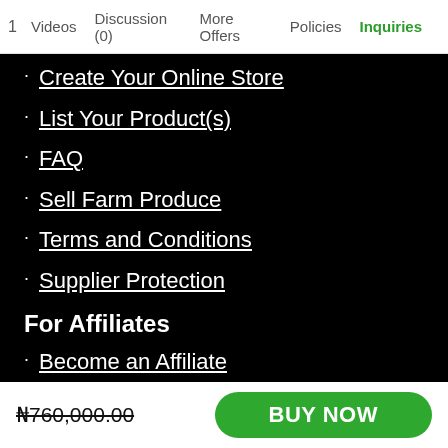1  Videos  Discussion (0)  More Offers  Policies  Inquiries
Create Your Online Store
List Your Product(s)
FAQ
Sell Farm Produce
Terms and Conditions
Supplier Protection
For Affiliates
Become an Affiliate
Registration Criteria
Registration Process
₦760,000.00  BUY NOW